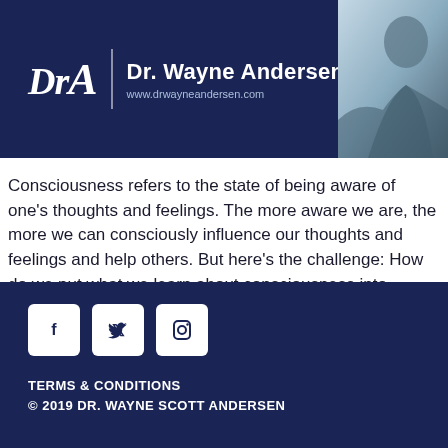[Figure (logo): Dr A logo with text 'Dr. Wayne Andersen' and website www.drwayneandersen.com on dark navy background with a photo of a person]
Consciousness refers to the state of being aware of one's thoughts and feelings. The more aware we are, the more we can consciously influence our thoughts and feelings and help others. But here's the challenge: How do we put what we learn about consciousness into practice? This first session dives deep into this topic. Video [...]
TERMS & CONDITIONS
© 2019 DR. WAYNE SCOTT ANDERSEN